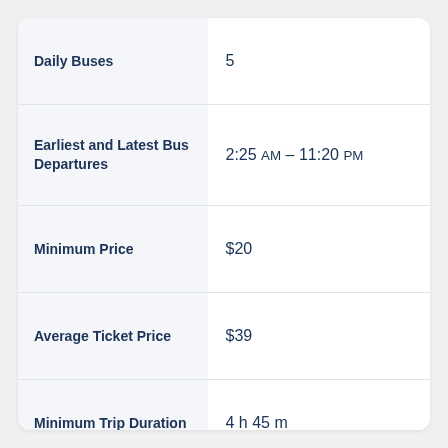|  |  |
| --- | --- |
| Daily Buses | 5 |
| Earliest and Latest Bus Departures | 2:25 AM – 11:20 PM |
| Minimum Price | $20 |
| Average Ticket Price | $39 |
| Minimum Trip Duration | 4 h 45 m |
| Average Bus Trip Duration | 6 h 25 m |
| Bus Companies on This Route | FlixBus, Megabus UK, National Express |